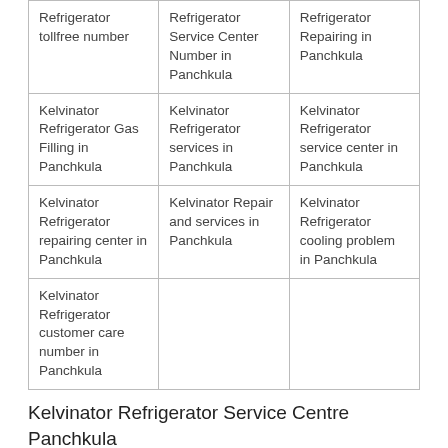| Refrigerator tollfree number | Refrigerator Service Center Number in Panchkula | Refrigerator Repairing in Panchkula |
| Kelvinator Refrigerator Gas Filling in Panchkula | Kelvinator Refrigerator services in Panchkula | Kelvinator Refrigerator service center in Panchkula |
| Kelvinator Refrigerator repairing center in Panchkula | Kelvinator Repair and services in Panchkula | Kelvinator Refrigerator cooling problem in Panchkula |
| Kelvinator Refrigerator customer care number in Panchkula |  |  |
Kelvinator Refrigerator Service Centre Panchkula 9587565374 | 9587565374